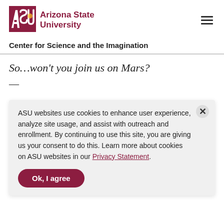Arizona State University — Center for Science and the Imagination
So…won't you join us on Mars?
—
The wiry old man stood in the Martian cave, sipping his coffee as he watched the colony's lights blink off the panels. A soft chime indicated the approaching ship's blinking 100.
ASU websites use cookies to enhance user experience, analyze site usage, and assist with outreach and enrollment. By continuing to use this site, you are giving us your consent to do this. Learn more about cookies on ASU websites in our Privacy Statement.
Yu's main screen displayed the orbiting ship's details while the other panels jumped to life. One monitored the pilot's health and showed his bio token, a shimmering green symbol shaped like a human body. The other was